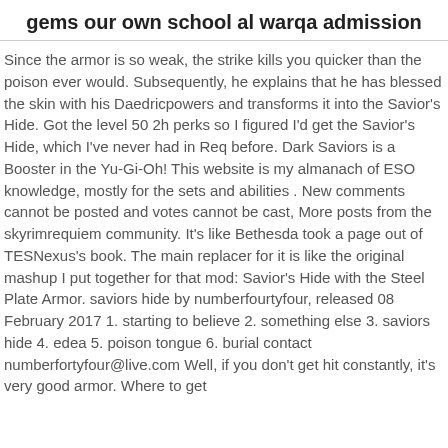gems our own school al warqa admission
Since the armor is so weak, the strike kills you quicker than the poison ever would. Subsequently, he explains that he has blessed the skin with his Daedricpowers and transforms it into the Savior's Hide. Got the level 50 2h perks so I figured I'd get the Savior's Hide, which I've never had in Req before. Dark Saviors is a Booster in the Yu-Gi-Oh! This website is my almanach of ESO knowledge, mostly for the sets and abilities . New comments cannot be posted and votes cannot be cast, More posts from the skyrimrequiem community. It's like Bethesda took a page out of TESNexus's book. The main replacer for it is like the original mashup I put together for that mod: Savior's Hide with the Steel Plate Armor. saviors hide by numberfourtyfour, released 08 February 2017 1. starting to believe 2. something else 3. saviors hide 4. edea 5. poison tongue 6. burial contact numberfortyfour@live.com Well, if you don't get hit constantly, it's very good armor. Where to get